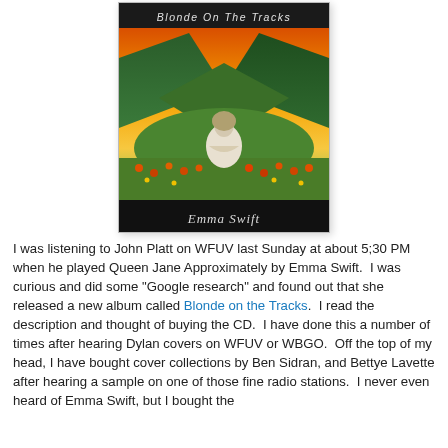[Figure (illustration): Album cover for 'Blonde On The Tracks' by Emma Swift. Shows a woman sitting cross-legged in a psychedelic landscape with green mountains, orange sky, and colorful flowers, in a mirrored/symmetrical composition. Black background with white italic title text at top and artist name 'Emma Swift' in serif font at bottom.]
I was listening to John Platt on WFUV last Sunday at about 5;30 PM when he played Queen Jane Approximately by Emma Swift.  I was curious and did some "Google research" and found out that she released a new album called Blonde on the Tracks.  I read the description and thought of buying the CD.  I have done this a number of times after hearing Dylan covers on WFUV or WBGO.  Off the top of my head, I have bought cover collections by Ben Sidran, and Bettye Lavette after hearing a sample on one of those fine radio stations.  I never even heard of Emma Swift, but I bought the